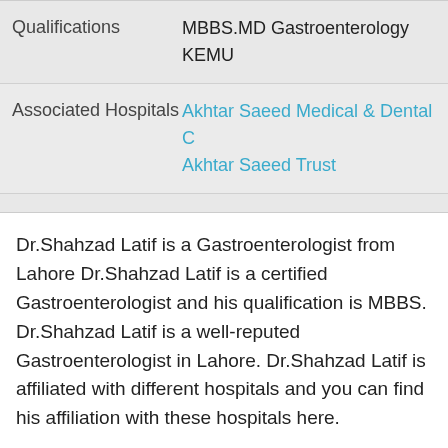| Field | Value |
| --- | --- |
| Qualifications | MBBS.MD Gastroenterology KEMU |
| Associated Hospitals | Akhtar Saeed Medical & Dental C... | Akhtar Saeed Trust |
Dr.Shahzad Latif is a Gastroenterologist from Lahore Dr.Shahzad Latif is a certified Gastroenterologist and his qualification is MBBS. Dr.Shahzad Latif is a well-reputed Gastroenterologist in Lahore. Dr.Shahzad Latif is affiliated with different hospitals and you can find his affiliation with these hospitals here.
Dr.Shahzad Latif Address And Contacts
Dr.Shahzad Latif  Address and Contacts. Dr.Shahzad Latif is a Gastroenterologist based in Lahore. Dr.Shahzad Latif phone number is 03215423348, 9242-37813471, 92-42-37512388, +92-42-37813471,